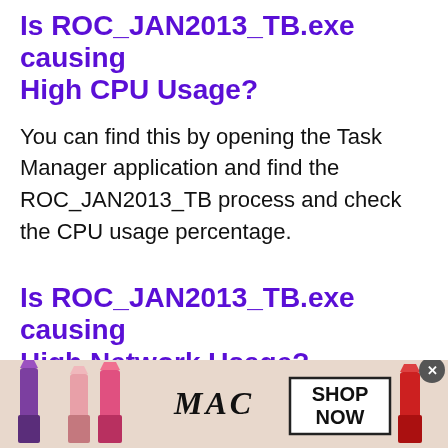Is ROC_JAN2013_TB.exe causing High CPU Usage?
You can find this by opening the Task Manager application and find the ROC_JAN2013_TB process and check the CPU usage percentage.
Is ROC_JAN2013_TB.exe causing High Network Usage?
If the ROC_JAN2013_TB.exe has High data Usage You can find this by opening the Task Manager windows app and find the
[Figure (advertisement): MAC cosmetics advertisement banner showing lipsticks in purple, pink, and red with MAC logo and SHOP NOW button]